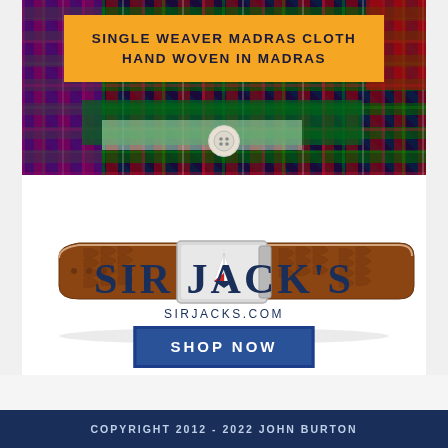[Figure (photo): Colorful madras plaid shirts folded, with an orange banner overlay reading 'SINGLE WEAVER MADRAS CLOTH HAND WOVEN IN MADRAS']
[Figure (photo): Brown crocodile-embossed leather belt with silver rectangular buckle featuring a sailboat logo]
SIR JACK'S
SIRJACKS.COM
SHOP NOW
COPYRIGHT 2012 - 2022 JOHN BURTON